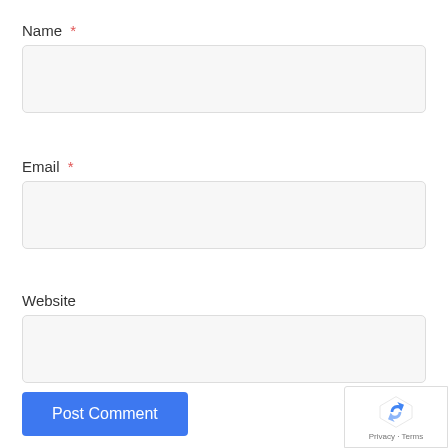Name *
[Figure (screenshot): Empty text input field for Name]
Email *
[Figure (screenshot): Empty text input field for Email]
Website
[Figure (screenshot): Empty text input field for Website]
Post Comment
[Figure (logo): reCAPTCHA badge with Privacy and Terms links]